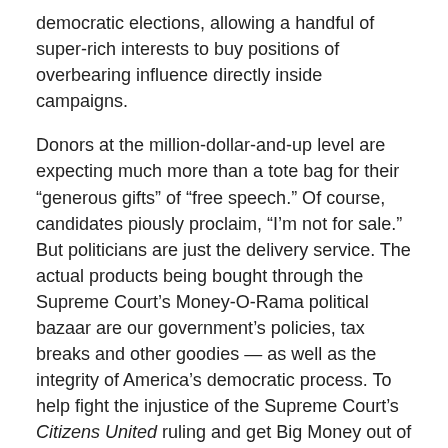democratic elections, allowing a handful of super-rich interests to buy positions of overbearing influence directly inside campaigns.
Donors at the million-dollar-and-up level are expecting much more than a tote bag for their “generous gifts” of “free speech.” Of course, candidates piously proclaim, “I’m not for sale.” But politicians are just the delivery service. The actual products being bought through the Supreme Court’s Money-O-Rama political bazaar are our government’s policies, tax breaks and other goodies — as well as the integrity of America’s democratic process. To help fight the injustice of the Supreme Court’s Citizens United ruling and get Big Money out of our political system, go to www.FreeSpeechForPeople.org.